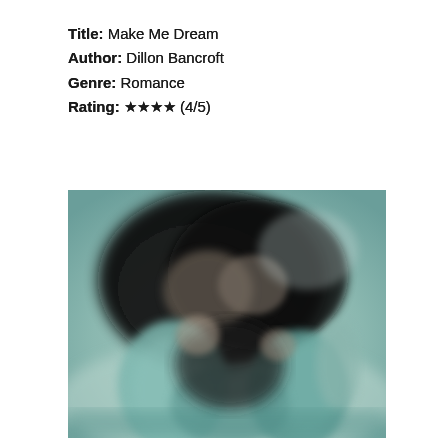Title: Make Me Dream
Author: Dillon Bancroft
Genre: Romance
Rating: ★★★★ (4/5)
[Figure (illustration): Blurred book cover image showing two figures close together against a muted teal/grey background with a large dark cloud-like shape above them, resembling a romantic embrace scene.]